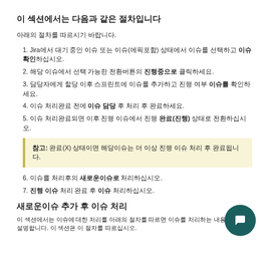이 섹션에서는 다음과 같은 절차입니다
아래의 절차를 따르시기 바랍니다.
1. Jira에서 대기 중인 이슈 또는 이슈(에픽포함) 상태에서 이슈를 선택하고 이슈 확인하십시오.
2. 해당 이슈에서 선택 가능한 전환버튼의 진행중으로 클릭하세요.
3. 담당자에게 할당 이후 스프린트에 이슈를 추가하고 진행 여부 이슈를 확인하세요.
4. 이슈 처리완료 전에 이슈 담당 후 처리 후 완료하세요.
5. 이슈 처리완료되면 이후 진행 이슈에서 진행 완료(진행) 상태로 전환하십시오.
참고: 완료(X) 상태이면 해당이슈는 더 이상 진행 이슈 처리 후 완료됩니다.
6. 이슈를 처리후의 새로운이슈로 처리하십시오.
7. 진행 이슈 처리 완료 후 이슈 처리하십시오.
새로운이슈 추가 후 이슈 처리
이 섹션에서는 이슈에 대한 처리를 아래의 절차를 따르면 이슈를 처리하는 내용에 대해 설명합니다. 이 섹션은 이 절차를 따르십시오.